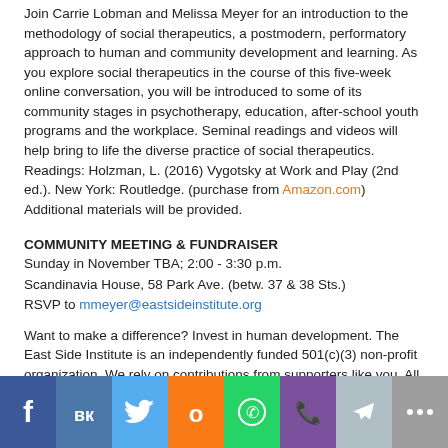Join Carrie Lobman and Melissa Meyer for an introduction to the methodology of social therapeutics, a postmodern, performatory approach to human and community development and learning. As you explore social therapeutics in the course of this five-week online conversation, you will be introduced to some of its community stages in psychotherapy, education, after-school youth programs and the workplace. Seminal readings and videos will help bring to life the diverse practice of social therapeutics. Readings: Holzman, L. (2016) Vygotsky at Work and Play (2nd ed.). New York: Routledge. (purchase from Amazon.com) Additional materials will be provided.
COMMUNITY MEETING & FUNDRAISER
Sunday in November TBA; 2:00 - 3:30 p.m.
Scandinavia House, 58 Park Ave. (betw. 37 & 38 Sts.)
RSVP to mmeyer@eastsideinstitute.org
Want to make a difference? Invest in human development. The East Side Institute is an independently funded 501(c)(3) non-profit organization. We rely on contributions from supporters like you. All are welcome! Bring your checkbooks.